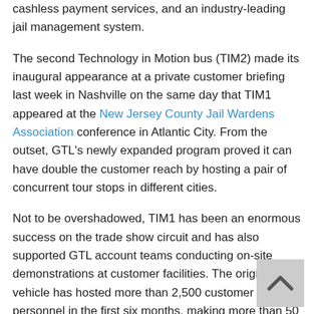cashless payment services, and an industry-leading jail management system.
The second Technology in Motion bus (TIM2) made its inaugural appearance at a private customer briefing last week in Nashville on the same day that TIM1 appeared at the New Jersey County Jail Wardens Association conference in Atlantic City. From the outset, GTL's newly expanded program proved it can have double the customer reach by hosting a pair of concurrent tour stops in different cities.
Not to be overshadowed, TIM1 has been an enormous success on the trade show circuit and has also supported GTL account teams conducting on-site demonstrations at customer facilities. The original vehicle has hosted more than 2,500 customer personnel in the first six months, making more than 50 tour stops and traveling more than 25,000 miles.
Between now and the end of 2017, TIM1 will be touring in the